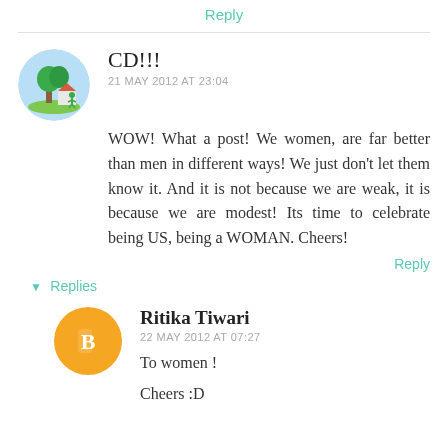Reply
CD!!!
21 MAY 2012 AT 23:04
WOW! What a post! We women, are far better than men in different ways! We just don't let them know it. And it is not because we are weak, it is because we are modest! Its time to celebrate being US, being a WOMAN. Cheers!
Reply
Replies
Ritika Tiwari
22 MAY 2012 AT 07:27
To women !
Cheers :D